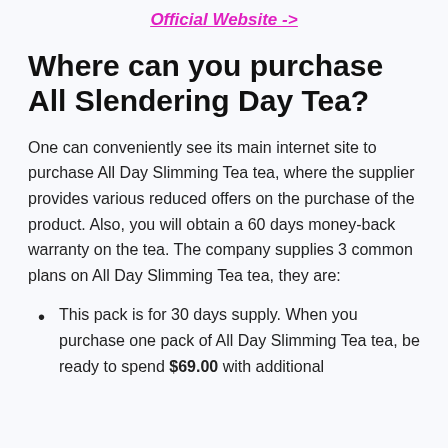Official Website ->
Where can you purchase All Slendering Day Tea?
One can conveniently see its main internet site to purchase All Day Slimming Tea tea, where the supplier provides various reduced offers on the purchase of the product. Also, you will obtain a 60 days money-back warranty on the tea. The company supplies 3 common plans on All Day Slimming Tea tea, they are:
This pack is for 30 days supply. When you purchase one pack of All Day Slimming Tea tea, be ready to spend $69.00 with additional